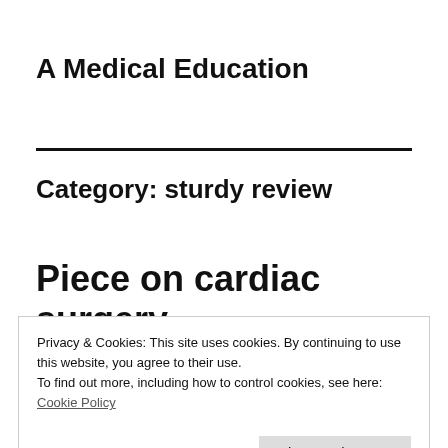A Medical Education
Category: sturdy review
Piece on cardiac surgery
Privacy & Cookies: This site uses cookies. By continuing to use this website, you agree to their use.
To find out more, including how to control cookies, see here:
Cookie Policy
Close and accept
on cardiac surgery. One is Stephen